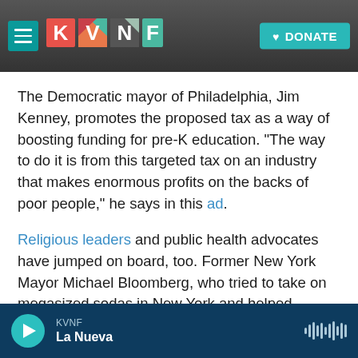KVNF logo and navigation header with DONATE button
The Democratic mayor of Philadelphia, Jim Kenney, promotes the proposed tax as a way of boosting funding for pre-K education. "The way to do it is from this targeted tax on an industry that makes enormous profits on the backs of poor people," he says in this ad.
Religious leaders and public health advocates have jumped on board, too. Former New York Mayor Michael Bloomberg, who tried to take on megasized sodas in New York and helped support Berkeley's initiative, has also backed Philadelphians
KVNF La Nueva